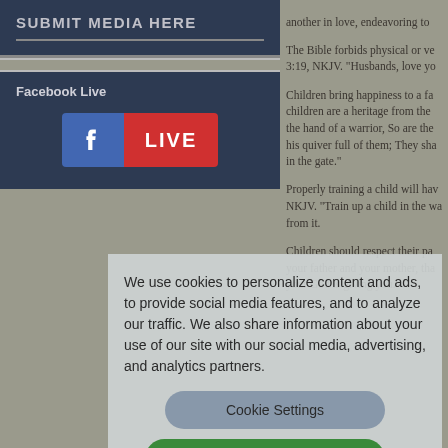[Figure (screenshot): Submit Media Here button in dark navy blue]
[Figure (screenshot): Facebook Live logo widget in dark navy box]
another in love, endeavoring to... The Bible forbids physical or ve... 3:19, NKJV. "Husbands, love yo... Children bring happiness to a fa... children are a heritage from the... the hand of a warrior, So are the... his quiver full of them; They sha... in the gate." Properly training a child will hav... NKJV. "Train up a child in the wa... from it. Children should respect their pa... your father and your mother, tha... your God is giving you."
We use cookies to personalize content and ads, to provide social media features, and to analyze our traffic. We also share information about your use of our site with our social media, advertising, and analytics partners.
Cookie Settings
Accept All Cookies